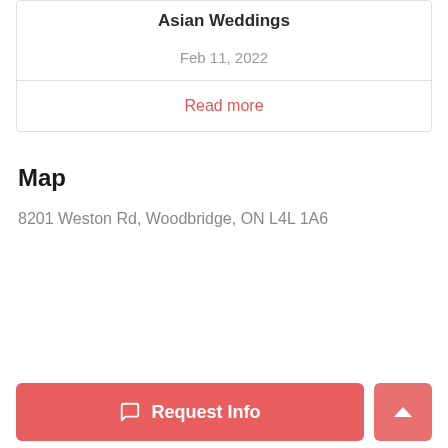Asian Weddings
Feb 11, 2022
Read more
Map
8201 Weston Rd, Woodbridge, ON L4L 1A6
Request Info